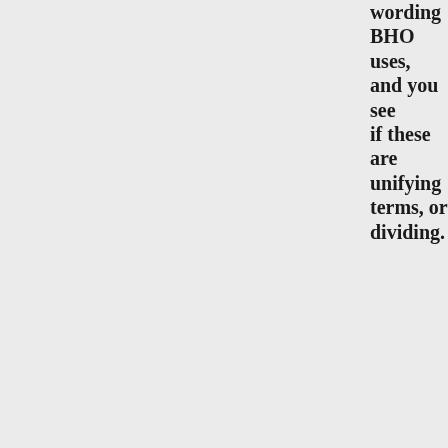wording BHO uses, and you see if these are unifying terms, or dividing.
“I can no more disow him [Rev. Wrig than I can disow the black comm I